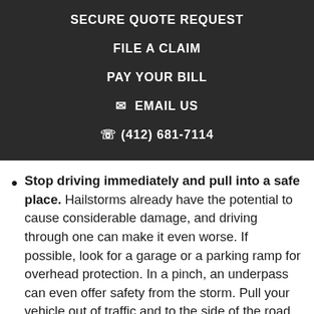SECURE QUOTE REQUEST
FILE A CLAIM
PAY YOUR BILL
✉ EMAIL US
✆ (412) 681-7114
Stop driving immediately and pull into a safe place. Hailstorms already have the potential to cause considerable damage, and driving through one can make it even worse. If possible, look for a garage or a parking ramp for overhead protection. In a pinch, an underpass can even offer safety from the storm. Pull your vehicle out of traffic and to the side of the road before stopping. Then turn on your